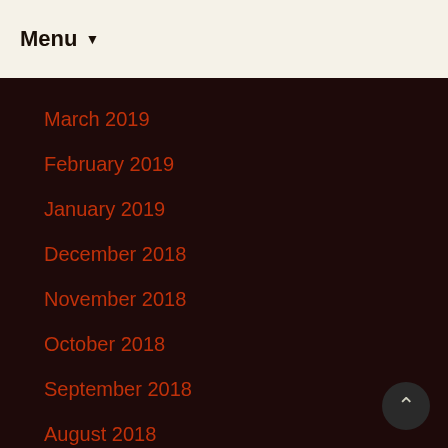Menu ▼
March 2019
February 2019
January 2019
December 2018
November 2018
October 2018
September 2018
August 2018
Categories
-navajo
10off